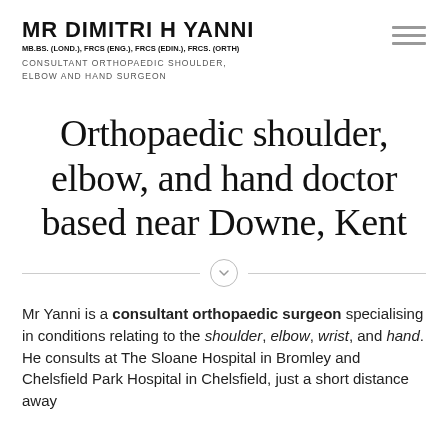MR DIMITRI H YANNI MB.BS. (LOND.), FRCS (ENG.), FRCS (EDIN.), FRCS. (ORTH) CONSULTANT ORTHOPAEDIC SHOULDER, ELBOW AND HAND SURGEON
Orthopaedic shoulder, elbow, and hand doctor based near Downe, Kent
Mr Yanni is a consultant orthopaedic surgeon specialising in conditions relating to the shoulder, elbow, wrist, and hand. He consults at The Sloane Hospital in Bromley and Chelsfield Park Hospital in Chelsfield, just a short distance away